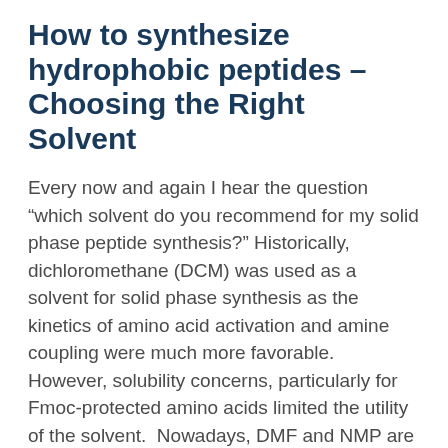How to synthesize hydrophobic peptides - Choosing the Right Solvent
Every now and again I hear the question “which solvent do you recommend for my solid phase peptide synthesis?” Historically, dichloromethane (DCM) was used as a solvent for solid phase synthesis as the kinetics of amino acid activation and amine coupling were much more favorable.  However, solubility concerns, particularly for Fmoc-protected amino acids limited the utility of the solvent.  Nowadays, DMF and NMP are the two principle solvents for both microwave assisted and room temperature solid phase peptide synthesis.  But the question remains, which one is better? In today’s post, I will compare how the